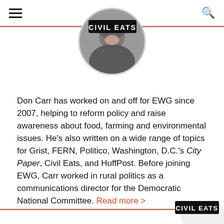Civil Eats
[Figure (photo): Circular profile photo of Don Carr, a man with dark curly hair and a beard, wearing a dark jacket, overlaid by the Civil Eats logo banner]
Don Carr has worked on and off for EWG since 2007, helping to reform policy and raise awareness about food, farming and environmental issues. He's also written on a wide range of topics for Grist, FERN, Politico, Washington, D.C.'s City Paper, Civil Eats, and HuffPost. Before joining EWG, Carr worked in rural politics as a communications director for the Democratic National Committee. Read more >
[Figure (logo): Civil Eats logo badge at bottom right corner]